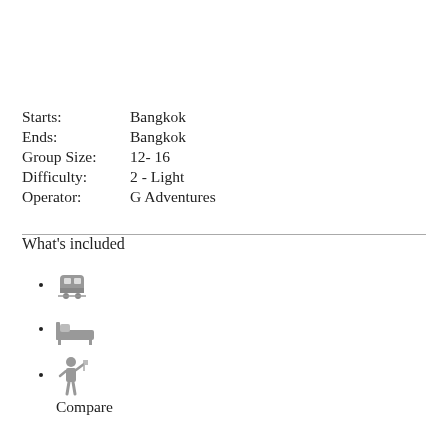Starts: Bangkok
Ends: Bangkok
Group Size: 12- 16
Difficulty: 2 - Light
Operator: G Adventures
What's included
[train icon]
[bed/accommodation icon]
[guide/person icon]
Compare